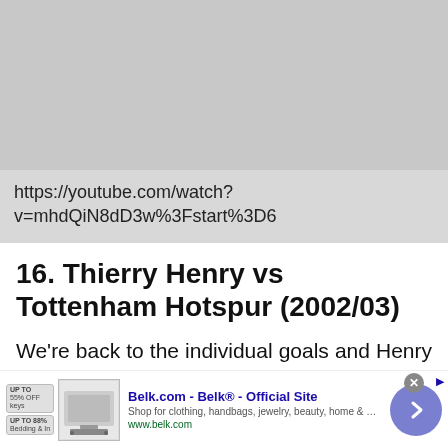[Figure (screenshot): Gray video placeholder area with a YouTube URL displayed below it on a light gray background]
https://youtube.com/watch?v=mhdQiN8dD3w%3Fstart%3D6
16. Thierry Henry vs Tottenham Hotspur (2002/03)
We’re back to the individual goals and Henry taking on the entire Spurs team on derby day is simply unforgettable, even if we think his solo effort against Liverpool the following year might have been better.
[Figure (screenshot): Advertisement banner for Belk.com showing product image, headline 'Belk.com - Belk® - Official Site', description text, URL, and navigation arrow button]